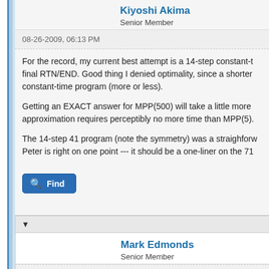Kiyoshi Akima
Senior Member
08-26-2009, 06:13 PM
For the record, my current best attempt is a 14-step constant-t final RTN/END. Good thing I denied optimality, since a shorter constant-time program (more or less).
Getting an EXACT answer for MPP(500) will take a little more approximation requires perceptibly no more time than MPP(5).
The 14-step 41 program (note the symmetry) was a straighforv Peter is right on one point --- it should be a one-liner on the 71
Find
Mark Edmonds
Senior Member
08-26-2009, 06:59 PM